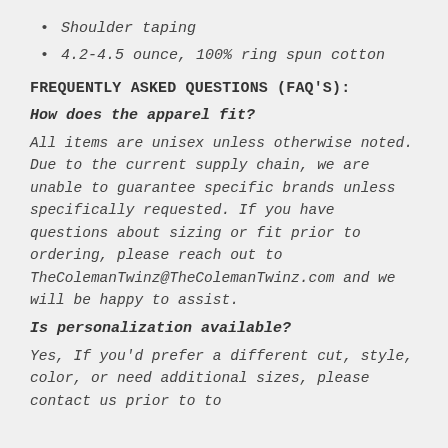Shoulder taping
4.2-4.5 ounce, 100% ring spun cotton
FREQUENTLY ASKED QUESTIONS (FAQ'S):
How does the apparel fit?
All items are unisex unless otherwise noted. Due to the current supply chain, we are unable to guarantee specific brands unless specifically requested. If you have questions about sizing or fit prior to ordering, please reach out to TheColemanTwinz@TheColemanTwinz.com and we will be happy to assist.
Is personalization available?
Yes, If you’d prefer a different cut, style, color, or need additional sizes, please contact us prior to to